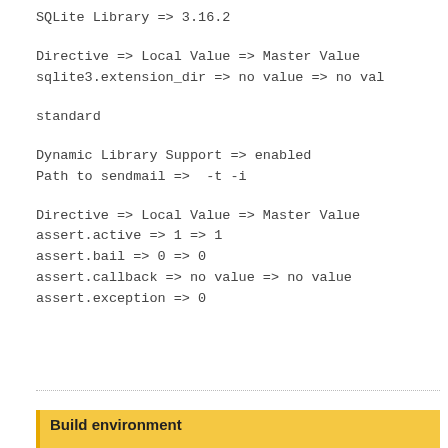SQLite Library => 3.16.2
Directive => Local Value => Master Value
sqlite3.extension_dir => no value => no val
standard
Dynamic Library Support => enabled
Path to sendmail =>  -t -i
Directive => Local Value => Master Value
assert.active => 1 => 1
assert.bail => 0 => 0
assert.callback => no value => no value
assert.exception => 0
Build environment